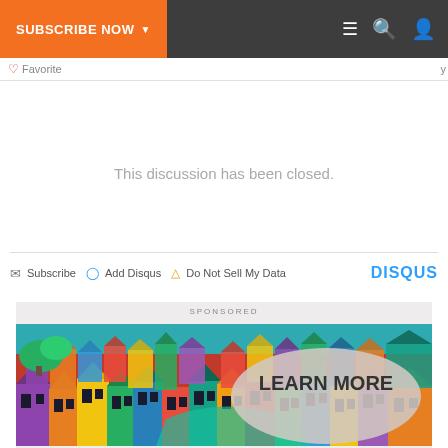SUBSCRIBE NOW
Favorite
This discussion has been closed.
Subscribe  Add Disqus  Do Not Sell My Data  DISQUS
SPONSORED
[Figure (illustration): Colorful illustrated image of densely packed Latin American style houses with a 'LEARN MORE' overlay bubble in the center-right area]